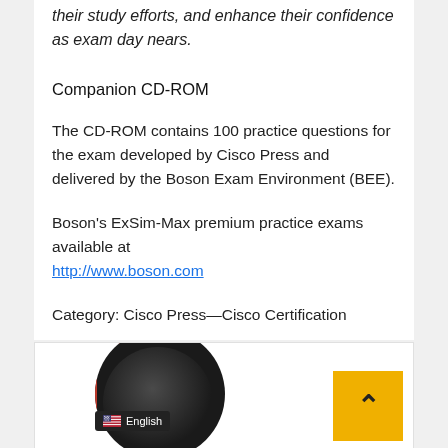their study efforts, and enhance their confidence as exam day nears.
Companion CD-ROM
The CD-ROM contains 100 practice questions for the exam developed by Cisco Press and delivered by the Boson Exam Environment (BEE).
Boson's ExSim-Max premium practice exams available at http://www.boson.com
Category: Cisco Press—Cisco Certification
Covers: CCNP TSHOOT exam 642-832
Buy the Print, eBook, or Bundle today
[Figure (photo): Person wearing headphones, with a yellow back-to-top button and an English language badge overlay]